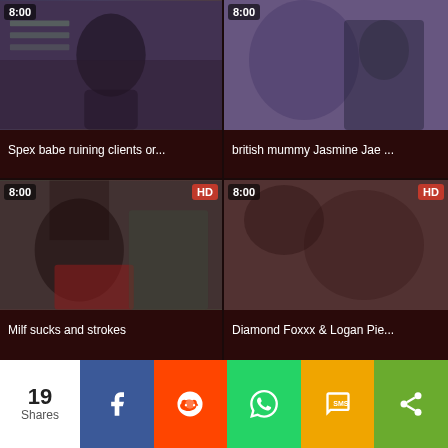[Figure (screenshot): Video thumbnail grid showing adult video content website with 4 video cards in 2x2 grid layout]
Spex babe ruining clients or...
british mummy Jasmine Jae ...
Milf sucks and strokes
Diamond Foxxx & Logan Pie...
19 Shares | Facebook | Reddit | WhatsApp | SMS | Share